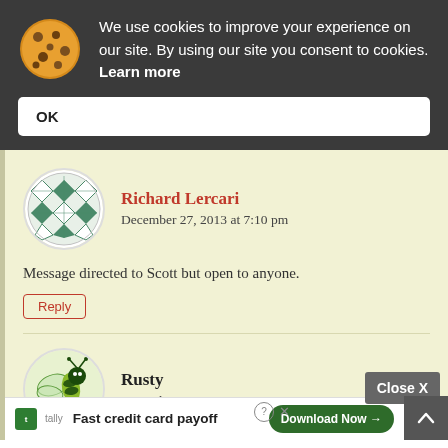We use cookies to improve your experience on our site. By using our site you consent to cookies. Learn more
OK
Richard Lercari
December 27, 2013 at 7:10 pm
Message directed to Scott but open to anyone.
Reply
Rusty
December 28, 2013 at 8:14 am
Close X
Fast credit card payoff
Download Now →